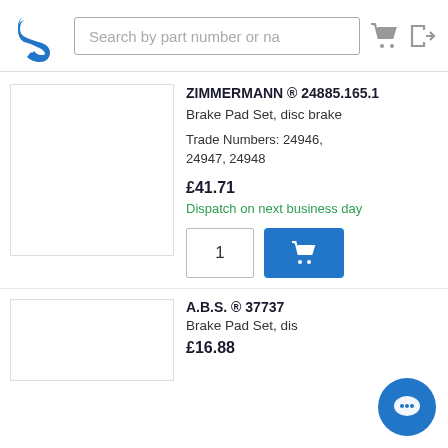Search by part number or na
ZIMMERMANN ® 24885.165.1
Brake Pad Set, disc brake
Trade Numbers: 24946, 24947, 24948
£41.71
Dispatch on next business day
A.B.S. ® 37737
Brake Pad Set, dis
£16.88